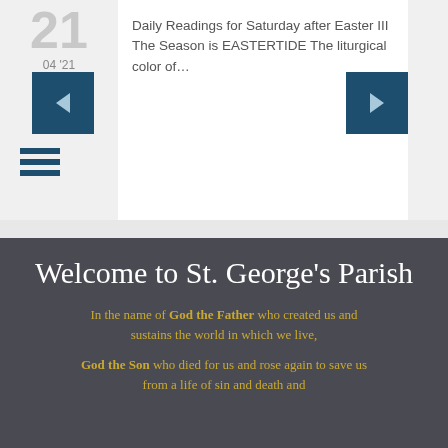[Figure (screenshot): Calendar navigation widget showing large number 21 in gray, date label 04 '21, left navigation arrow button in dark teal, hamburger menu icon in dark teal, and a ghost/user circle icon below]
Daily Readings for Saturday after Easter III The Season is EASTERTIDE The liturgical color of…
[Figure (screenshot): Right navigation arrow button in dark teal]
Welcome to St. George's Parish
In the name of God the Father who created us and sustains the world in which we live,
God the Son who died for us and rose again to save us from a life of sin and death and